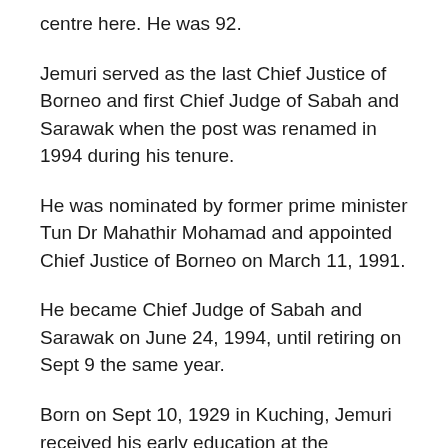centre here. He was 92.
Jemuri served as the last Chief Justice of Borneo and first Chief Judge of Sabah and Sarawak when the post was renamed in 1994 during his tenure.
He was nominated by former prime minister Tun Dr Mahathir Mohamad and appointed Chief Justice of Borneo on March 11, 1991.
He became Chief Judge of Sabah and Sarawak on June 24, 1994, until retiring on Sept 9 the same year.
Born on Sept 10, 1929 in Kuching, Jemuri received his early education at the Madrasah Melayu government school and secondary school